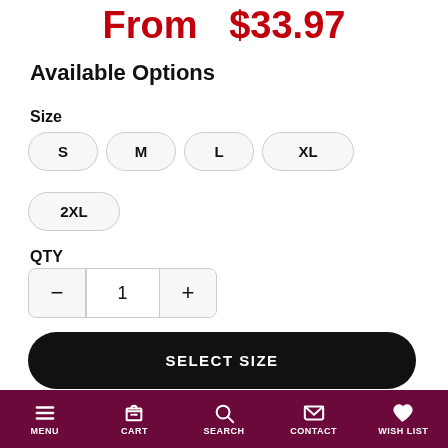From $33.97
Available Options
Size
S
M
L
XL
2XL
QTY
- 1 +
SELECT SIZE
Add to wishlist   Size chart
MENU  CART  SEARCH  CONTACT  WISH LIST